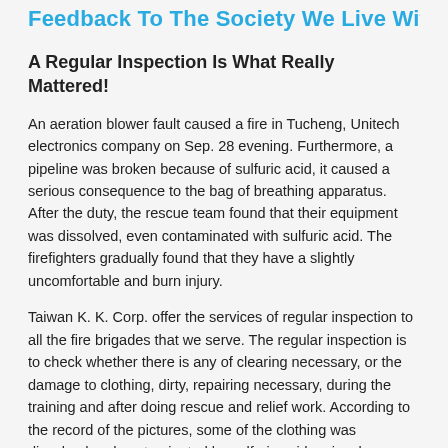Feedback To The Society We Live With
A Regular Inspection Is What Really Mattered!
An aeration blower fault caused a fire in Tucheng, Unitech electronics company on Sep. 28 evening. Furthermore, a pipeline was broken because of sulfuric acid, it caused a serious consequence to the bag of breathing apparatus. After the duty, the rescue team found that their equipment was dissolved, even contaminated with sulfuric acid. The firefighters gradually found that they have a slightly uncomfortable and burn injury.
Taiwan K. K. Corp. offer the services of regular inspection to all the fire brigades that we serve. The regular inspection is to check whether there is any of clearing necessary, or the damage to clothing, dirty, repairing necessary, during the training and after doing rescue and relief work. According to the record of the pictures, some of the clothing was dissolved and contaminated by sulfuric acid seriously, even penetrated